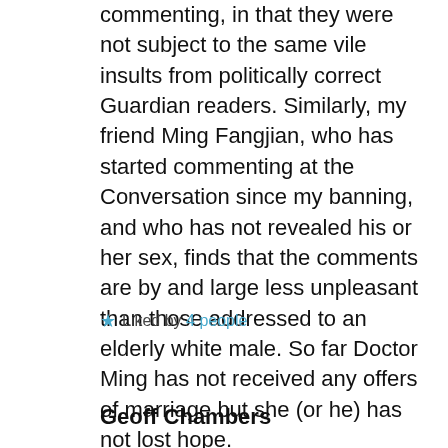commenting, in that they were not subject to the same vile insults from politically correct Guardian readers. Similarly, my friend Ming Fangjian, who has started commenting at the Conversation since my banning, and who has not revealed his or her sex, finds that the comments are by and large less unpleasant than those addressed to an elderly white male. So far Doctor Ming has not received any offers of marriage but she (or he) has not lost hope.
Liked by 4 people
Geoff Chambers